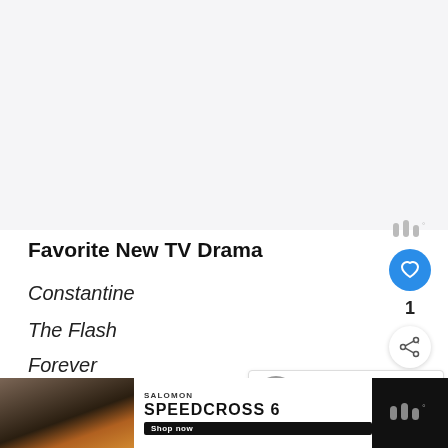[Figure (other): Large blank/light gray content placeholder area at the top of the page]
Favorite New TV Drama
Constantine
The Flash
Forever
Gotham
Gr...
[Figure (other): Social sidebar with wavy icon, heart/like button, count of 1, and share button]
[Figure (other): What's Next panel: thumbnail circle with buddy icon, label WHAT'S NEXT with arrow, text '2014 People's Choice...']
[Figure (photo): Bottom advertisement bar: left photo of dark trail/outdoor scene, center shows SALOMON brand name and SPEEDCROSS 6 product with Shop Now button, right shows wavy icon on dark background]